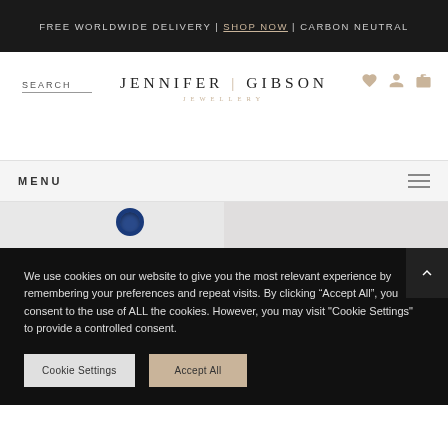FREE WORLDWIDE DELIVERY | SHOP NOW | CARBON NEUTRAL
[Figure (screenshot): Jennifer Gibson Jewellery website header with search, logo, and navigation icons]
MENU
[Figure (photo): Jewellery product images partially visible]
We use cookies on our website to give you the most relevant experience by remembering your preferences and repeat visits. By clicking "Accept All", you consent to the use of ALL the cookies. However, you may visit "Cookie Settings" to provide a controlled consent.
Cookie Settings | Accept All